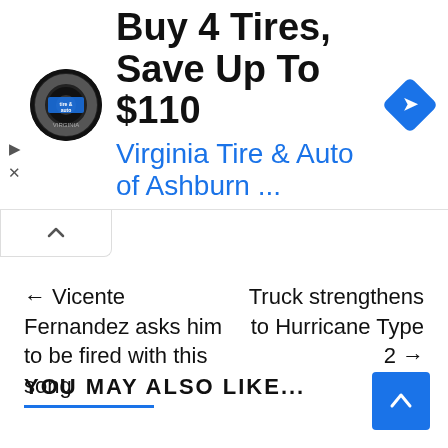[Figure (other): Advertisement banner for Virginia Tire & Auto of Ashburn with circular logo, headline 'Buy 4 Tires, Save Up To $110', blue subtitle 'Virginia Tire & Auto of Ashburn ...', and a blue diamond navigation icon]
← Vicente Fernandez asks him to be fired with this song
Truck strengthens to Hurricane Type 2 →
YOU MAY ALSO LIKE...